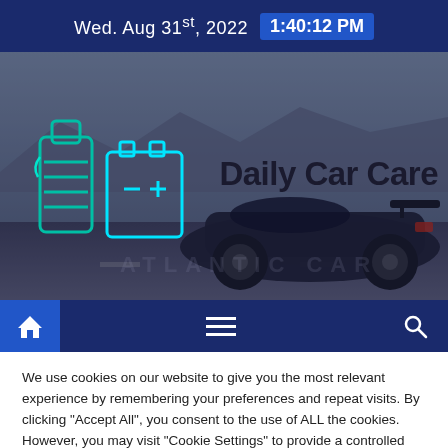Wed. Aug 31st, 2022  1:40:12 PM
[Figure (screenshot): Hero banner showing a dark sports car (Acura) driving on a road with mountains in the background, tinted in dark blue-gray. Overlaid with car care product icons (oil, battery) in teal/cyan outline style on the left, and the text 'Daily Car Care' in bold black on the right. Faint watermark text 'ATLANTIC CAR' visible.]
[Figure (infographic): Navigation bar with dark blue background. Left: home icon on blue square background. Center: hamburger menu icon (three lines). Right: search/magnifier icon.]
We use cookies on our website to give you the most relevant experience by remembering your preferences and repeat visits. By clicking "Accept All", you consent to the use of ALL the cookies. However, you may visit "Cookie Settings" to provide a controlled consent.
Cookie Settings  |  Accept All